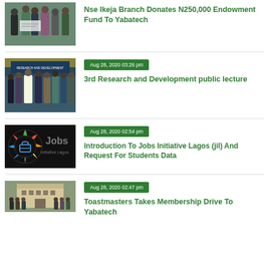[Figure (photo): Group of people holding a cheque, formal event photo]
Nse Ikeja Branch Donates N250,000 Endowment Fund To Yabatech
[Figure (photo): Group of people at a formal event with decorative background]
Aug 28, 2020 03:26 pm
3rd Research and Development public lecture
[Figure (logo): Jobs Initiative Lagos logo - circular design with briefcase icon and colorful rays]
Aug 28, 2020 02:54 pm
Introduction To Jobs Initiative Lagos (jil) And Request For Students Data
[Figure (photo): Group of people standing outside a building]
Aug 28, 2020 02:47 pm
Toastmasters Takes Membership Drive To Yabatech